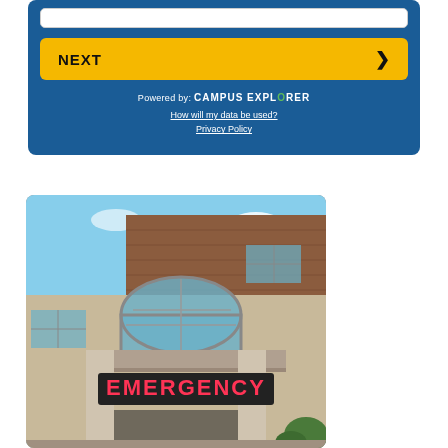[Figure (screenshot): Blue Campus Explorer widget with input bar, yellow NEXT button with arrow, 'Powered by: CAMPUS EXPLORER' text, and links for 'How will my data be used?' and 'Privacy Policy']
[Figure (photo): Photo of a hospital building exterior with a red illuminated EMERGENCY sign above the entrance, brick and concrete facade, arched glass window above the entrance canopy, blue sky with clouds in background]